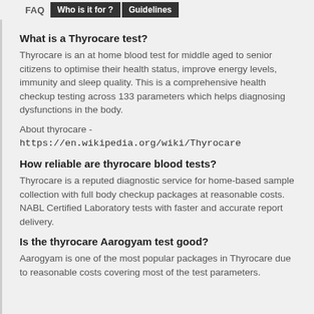FAQ  Who is it for ?  Guidelines
What is a Thyrocare test?
Thyrocare is an at home blood test for middle aged to senior citizens to optimise their health status, improve energy levels, immunity and sleep quality. This is a comprehensive health checkup testing across 133 parameters which helps diagnosing dysfunctions in the body.
About thyrocare - https://en.wikipedia.org/wiki/Thyrocare
How reliable are thyrocare blood tests?
Thyrocare is a reputed diagnostic service for home-based sample collection with full body checkup packages at reasonable costs. NABL Certified Laboratory tests with faster and accurate report delivery.
Is the thyrocare Aarogyam test good?
Aarogyam is one of the most popular packages in Thyrocare due to reasonable costs covering most of the test parameters.